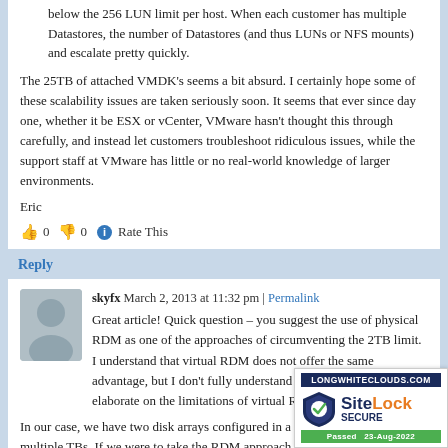below the 256 LUN limit per host. When each customer has multiple Datastores, the number of Datastores (and thus LUNs or NFS mounts) and escalate pretty quickly.
The 25TB of attached VMDK's seems a bit absurd. I certainly hope some of these scalability issues are taken seriously soon. It seems that ever since day one, whether it be ESX or vCenter, VMware hasn't thought this through carefully, and instead let customers troubleshoot ridiculous issues, while the support staff at VMware has little or no real-world knowledge of larger environments.
Eric
👍 0 👎 0 ℹ Rate This
Reply
skyfx March 2, 2013 at 11:32 pm | Permalink
Great article! Quick question – you suggest the use of physical RDM as one of the approaches of circumventing the 2TB limit. I understand that virtual RDM does not offer the same advantage, but I don't fully understand why. Could you elaborate on the limitations of virtual RDM?
In our case, we have two disk arrays configured in a RAID 6 array comprising multiple TBs. If we were to take the RDM ap... understanding is that we would separate the array into tw...
1) A VMFS partition to host the guest OS .vmdk's as we...